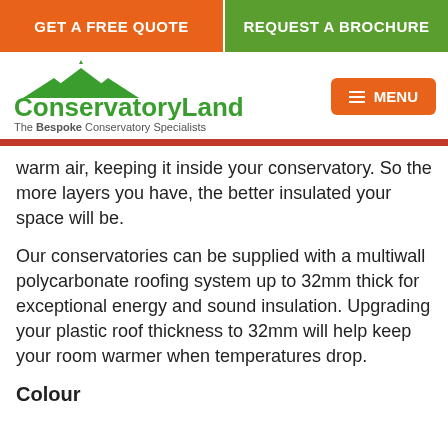GET A FREE QUOTE | REQUEST A BROCHURE
[Figure (logo): ConservatoryLand logo with green tent/conservatory icon and tagline 'The Bespoke Conservatory Specialists']
warm air, keeping it inside your conservatory. So the more layers you have, the better insulated your space will be.
Our conservatories can be supplied with a multiwall polycarbonate roofing system up to 32mm thick for exceptional energy and sound insulation. Upgrading your plastic roof thickness to 32mm will help keep your room warmer when temperatures drop.
Colour